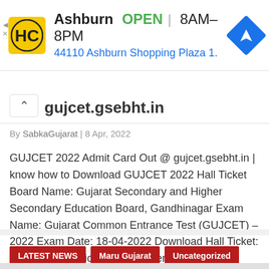[Figure (other): Advertisement banner for Hardee's restaurant in Ashburn showing logo, OPEN status, hours 8AM-8PM, and address 44110 Ashburn Shopping Plaza 1., with navigation icon]
gujcet.gsebht.in
By SabkaGujarat | 8 Apr, 2022
GUJCET 2022 Admit Card Out @ gujcet.gsebht.in | know how to Download GUJCET 2022 Hall Ticket Board Name: Gujarat Secondary and Higher Secondary Education Board, Gandhinagar Exam Name: Gujarat Common Entrance Test (GUJCET) – 2022 Exam Date: 18-04-2022 Download Hall Ticket: Click Here Notification: Click Here More Details: Click Here
LATEST NEWS
Maru Gujarat
Uncategorized